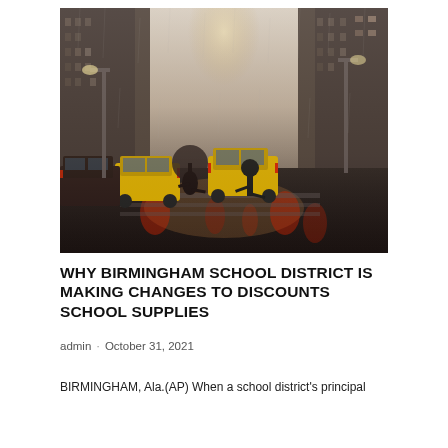[Figure (photo): A rainy city street scene with yellow taxis and pedestrians crossing at a crosswalk between tall urban buildings, viewed from street level.]
WHY BIRMINGHAM SCHOOL DISTRICT IS MAKING CHANGES TO DISCOUNTS SCHOOL SUPPLIES
admin · October 31, 2021
BIRMINGHAM, Ala.(AP) When a school district's principal